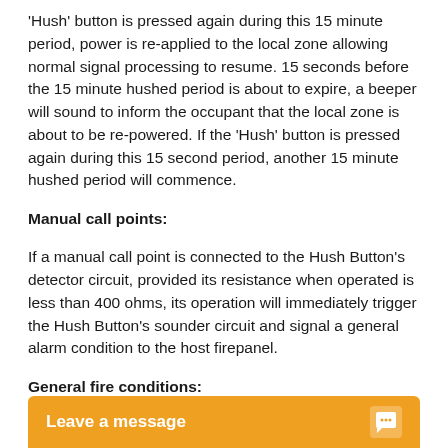'Hush' button is pressed again during this 15 minute period, power is re-applied to the local zone allowing normal signal processing to resume. 15 seconds before the 15 minute hushed period is about to expire, a beeper will sound to inform the occupant that the local zone is about to be re-powered. If the 'Hush' button is pressed again during this 15 second period, another 15 minute hushed period will commence.
Manual call points:
If a manual call point is connected to the Hush Button's detector circuit, provided its resistance when operated is less than 400 ohms, its operation will immediately trigger the Hush Button's sounder circuit and signal a general alarm condition to the host firepanel.
General fire conditions:
If...
[Figure (other): Orange chat widget bar at bottom of page with text 'Leave a message' and chat bubble icon]